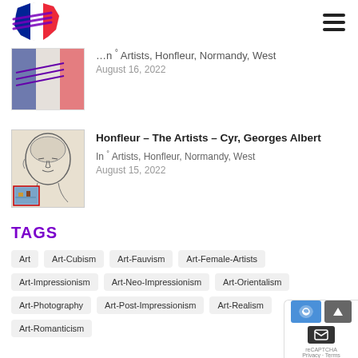[Figure (logo): Travel Francais website logo with France map shape in blue, white, red with purple diagonal text overlay]
[Figure (photo): Thumbnail image for article about Honfleur artists - first entry, partially cropped]
In ° Artists, Honfleur, Normandy, West
August 16, 2022
[Figure (photo): Thumbnail sketch portrait of Georges Albert Cyr, with small color painting inset bottom left]
Honfleur – The Artists – Cyr, Georges Albert
In ° Artists, Honfleur, Normandy, West
August 15, 2022
TAGS
Art
Art-Cubism
Art-Fauvism
Art-Female-Artists
Art-Impressionism
Art-Neo-Impressionism
Art-Orientalism
Art-Photography
Art-Post-Impressionism
Art-Realism
Art-Romanticism